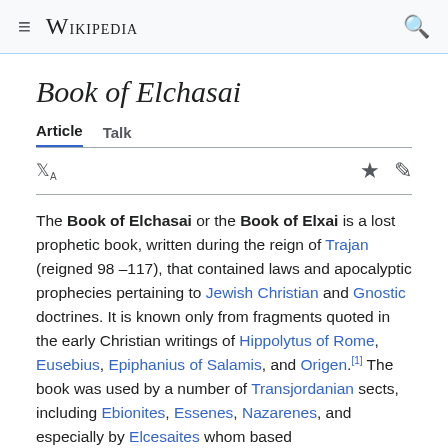≡ Wikipedia 🔍
Book of Elchasai
Article   Talk
The Book of Elchasai or the Book of Elxai is a lost prophetic book, written during the reign of Trajan (reigned 98–117), that contained laws and apocalyptic prophecies pertaining to Jewish Christian and Gnostic doctrines. It is known only from fragments quoted in the early Christian writings of Hippolytus of Rome, Eusebius, Epiphanius of Salamis, and Origen.[1] The book was used by a number of Transjordanian sects, including Ebionites, Essenes, Nazarenes, and especially by Elcesaites whom based